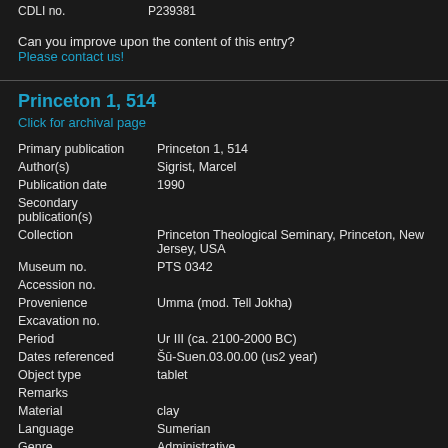CDLI no.    P239381
Can you improve upon the content of this entry?
Please contact us!
Princeton 1, 514
Click for archival page
| Field | Value |
| --- | --- |
| Primary publication | Princeton 1, 514 |
| Author(s) | Sigrist, Marcel |
| Publication date | 1990 |
| Secondary publication(s) |  |
| Collection | Princeton Theological Seminary, Princeton, New Jersey, USA |
| Museum no. | PTS 0342 |
| Accession no. |  |
| Provenience | Umma (mod. Tell Jokha) |
| Excavation no. |  |
| Period | Ur III (ca. 2100-2000 BC) |
| Dates referenced | Šū-Suen.03.00.00 (us2 year) |
| Object type | tablet |
| Remarks |  |
| Material | clay |
| Language | Sumerian |
| Genre | Administrative |
| Sub-genre |  |
| CDLI comments |  |